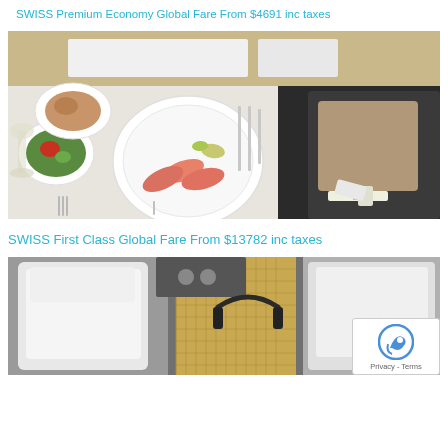SWISS Premium Economy Global Fare From $4691 inc taxes
[Figure (photo): Aerial view of a SWISS airline Premium Economy seat with a meal tray showing salad, bread, and a main plate with salmon and garnish, and a partially visible seat with pillow and seatbelt on the right.]
SWISS First Class Global Fare From $13782 inc taxes
[Figure (photo): SWISS airline First Class cabin interior showing white leather seats, gold lattice panel, and headphones hanging, with a reCAPTCHA privacy badge overlaid in the bottom right corner.]